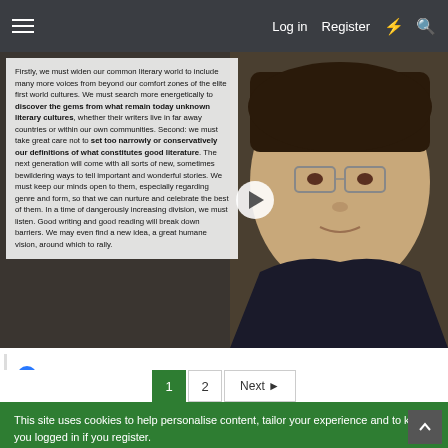Log in  Register
[Figure (screenshot): Video thumbnail showing an Asian man with glasses and text overlay about widening literary world and discovering gems from unknown literary cultures]
David Baxter
1  2  Next
This site uses cookies to help personalise content, tailor your experience and to keep you logged in if you register. By continuing to use this site, you are consenting to our use of cookies.